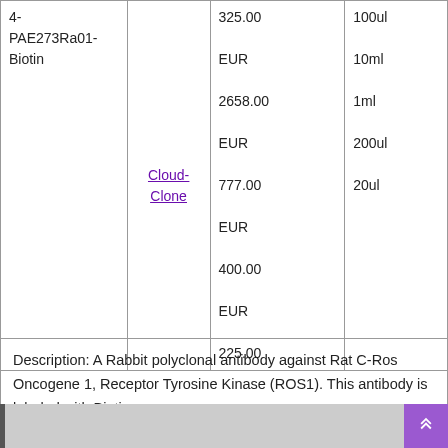| ID | Supplier | Price | Size |
| --- | --- | --- | --- |
| 4-PAE273Ra01-Biotin | Cloud-Clone | 325.00 EUR
2658.00 EUR
777.00 EUR
400.00 EUR
225.00 | 100ul
10ml
1ml
200ul
20ul |
Description: A Rabbit polyclonal antibody against Rat C-Ros Oncogene 1, Receptor Tyrosine Kinase (ROS1). This antibody is labeled with Biotin.